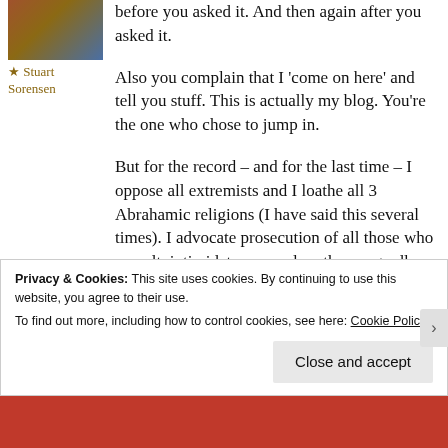[Figure (photo): Profile photo of Stuart Sorensen, partially visible at top]
★ Stuart Sorensen
before you asked it. And then again after you asked it.

Also you complain that I 'come on here' and tell you stuff. This is actually my blog. You're the one who chose to jump in.

But for the record – and for the last time – I oppose all extremists and I loathe all 3 Abrahamic religions (I have said this several times). I advocate prosecution of all those who assault, intimidate or murder others regardless of their
Privacy & Cookies: This site uses cookies. By continuing to use this website, you agree to their use.
To find out more, including how to control cookies, see here: Cookie Policy
Close and accept